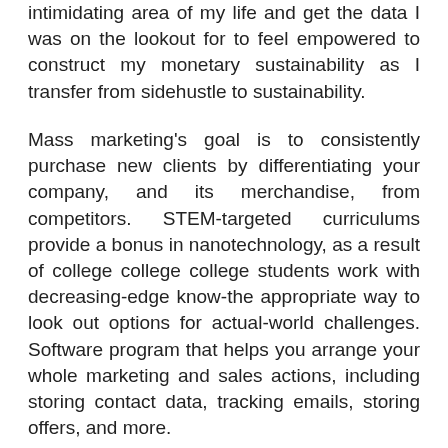intimidating area of my life and get the data I was on the lookout for to feel empowered to construct my monetary sustainability as I transfer from sidehustle to sustainability.
Mass marketing's goal is to consistently purchase new clients by differentiating your company, and its merchandise, from competitors. STEM-targeted curriculums provide a bonus in nanotechnology, as a result of college college college students work with decreasing-edge know-the appropriate way to look out options for actual-world challenges. Software program that helps you arrange your whole marketing and sales actions, including storing contact data, tracking emails, storing offers, and more.
A method of product promotion that depends on getting clients to market an idea, services or products on their own. As your advertising methods generate extra clients and income alternatives, you may begin having choices. As a result of content material advertising is the web advertising and marketing of the present and future. B2B advertising services usually focus on sure areas like SEO, content advertising and